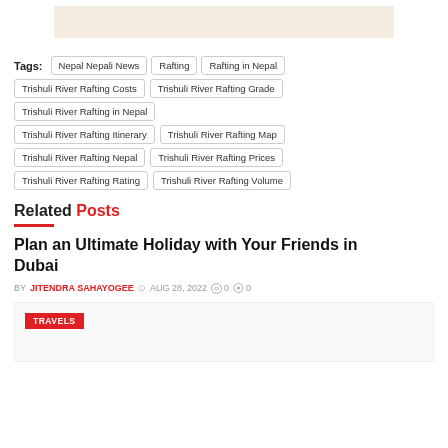[Figure (other): Advertisement banner placeholder (beige/tan rectangle)]
Tags: Nepal Nepali News | Rafting | Rafting in Nepal | Trishuli River Rafting Costs | Trishuli River Rafting Grade | Trishuli River Rafting in Nepal | Trishuli River Rafting Itinerary | Trishuli River Rafting Map | Trishuli River Rafting Nepal | Trishuli River Rafting Prices | Trishuli River Rafting Rating | Trishuli River Rafting Volume
Related Posts
Plan an Ultimate Holiday with Your Friends in Dubai
BY JITENDRA SAHAYOGEE  AUG 28, 2022  0  0
[Figure (other): Thumbnail card with TRAVELS label on red background]